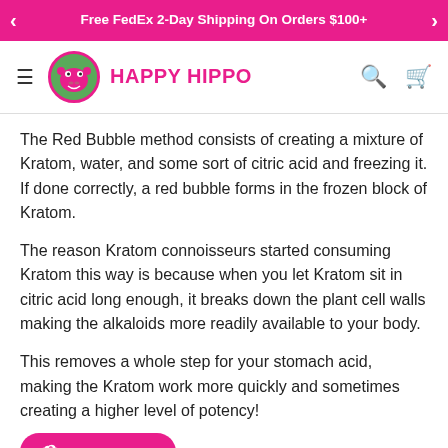Free FedEx 2-Day Shipping On Orders $100+
[Figure (logo): Happy Hippo logo with pink hippo face in green circle, brand name HAPPY HIPPO in pink]
The Red Bubble method consists of creating a mixture of Kratom, water, and some sort of citric acid and freezing it. If done correctly, a red bubble forms in the frozen block of Kratom.
The reason Kratom connoisseurs started consuming Kratom this way is because when you let Kratom sit in citric acid long enough, it breaks down the plant cell walls making the alkaloids more readily available to your body.
This removes a whole step for your stomach acid, making the Kratom work more quickly and sometimes creating a higher level of potency!
To learn how to do the Red Bubble Kratom Technique.